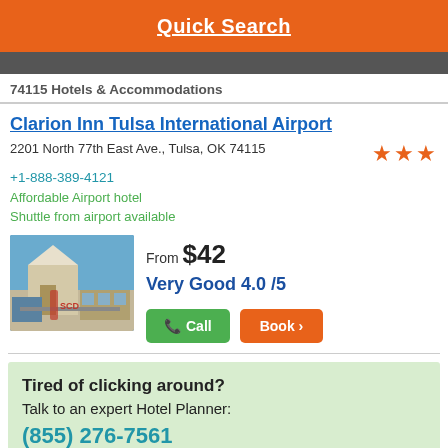Quick Search
74115 Hotels & Accommodations
Clarion Inn Tulsa International Airport
2201 North 77th East Ave., Tulsa, OK 74115
+1-888-389-4121
Affordable Airport hotel
Shuttle from airport available
From $42
Very Good 4.0 /5
Tired of clicking around?
Talk to an expert Hotel Planner:
(855) 276-7561
or say...